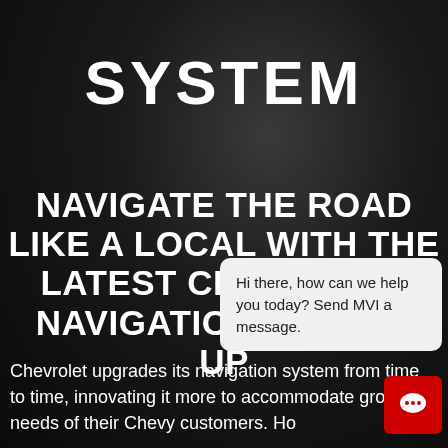SYSTEM
NAVIGATE THE ROAD LIKE A LOCAL WITH THE LATEST CHEVROLET NAVIGATION SYSTEM UP
Chevrolet upgrades its navigation system from time to time, innovating it more to accommodate growing needs of their Chevy customers. Ho
Hi there, how can we help you today? Send MVI a message.